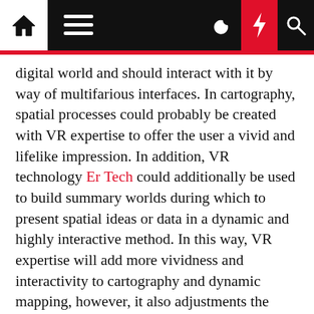Navigation bar with home, menu, moon, lightning, and search icons
digital world and should interact with it by way of multifarious interfaces. In cartography, spatial processes could probably be created with VR expertise to offer the user a vivid and lifelike impression. In addition, VR technology Er Tech could additionally be used to build summary worlds during which to present spatial ideas or data in a dynamic and highly interactive method. In this way, VR expertise will add more vividness and interactivity to cartography and dynamic mapping, however, it also adjustments the traditional cartographic viewpoint.
You can sell merchandise on the web and can get cash from the bank immediately.
Ben is just a phone name away and has answered each query and has been excellent on his service.